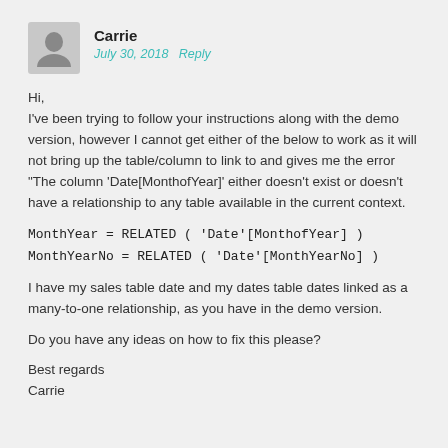Carrie
July 30, 2018  Reply
Hi,
I've been trying to follow your instructions along with the demo version, however I cannot get either of the below to work as it will not bring up the table/column to link to and gives me the error “The column ‘Date[MonthofYear]’ either doesn’t exist or doesn’t have a relationship to any table available in the current context.
I have my sales table date and my dates table dates linked as a many-to-one relationship, as you have in the demo version.
Do you have any ideas on how to fix this please?
Best regards
Carrie